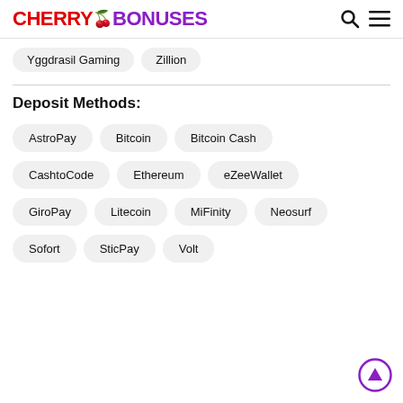CHERRY BONUSES
Yggdrasil Gaming
Zillion
Deposit Methods:
AstroPay
Bitcoin
Bitcoin Cash
CashtoCode
Ethereum
eZeeWallet
GiroPay
Litecoin
MiFinity
Neosurf
Sofort
SticPay
Volt